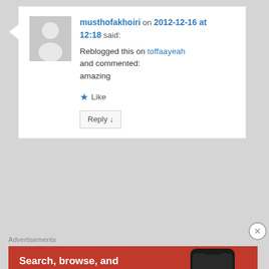[Figure (illustration): Default user avatar - grey square with white silhouette of a person]
musthofakhoiri on 2012-12-16 at 12:18 said:
Reblogged this on toffaayeah and commented:
amazing
Like
Reply ↓
Advertisements
[Figure (illustration): DuckDuckGo advertisement banner. Orange/red background. Text: Search, browse, and email with more privacy. All in One Free App. Shows a phone with DuckDuckGo app and logo.]